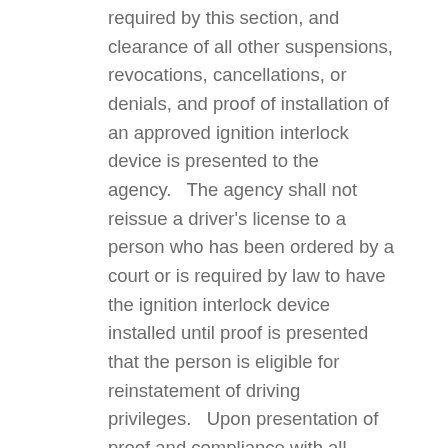required by this section, and clearance of all other suspensions, revocations, cancellations, or denials, and proof of installation of an approved ignition interlock device is presented to the agency.   The agency shall not reissue a driver's license to a person who has been ordered by a court or is required by law to have the ignition interlock device installed until proof is presented that the person is eligible for reinstatement of driving privileges.   Upon presentation of proof and compliance with all ignition interlock requirements, the agency shall issue a driver's license with a restriction indicating that the licensee may operate a motor vehicle only with the certified ignition interlock device installed and properly operating.   If the licensee fails to maintain the approved ignition interlock device as required or is otherwise not in compliance with any order of the court, the agency shall notify the...